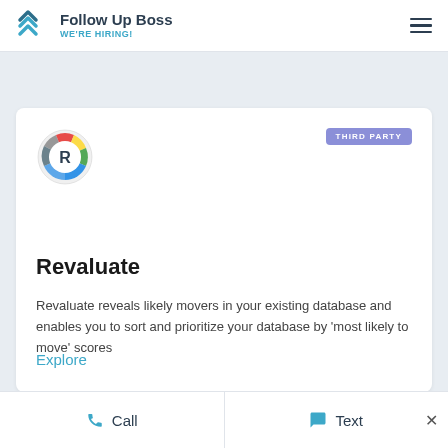Follow Up Boss — WE'RE HIRING!
[Figure (logo): Revaluate logo: circular icon with colorful arc segments (red, yellow, green, blue, gray) and a stylized R in the center]
Revaluate
Revaluate reveals likely movers in your existing database and enables you to sort and prioritize your database by 'most likely to move' scores
Explore
Call  Text